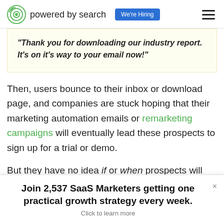powered by search | We're Hiring
"Thank you for downloading our industry report. It's on it's way to your email now!"
Then, users bounce to their inbox or download page, and companies are stuck hoping that their marketing automation emails or remarketing campaigns will eventually lead these prospects to sign up for a trial or demo.
But they have no idea if or when prospects will
Join 2,537 SaaS Marketers getting one practical growth strategy every week. Click to learn more